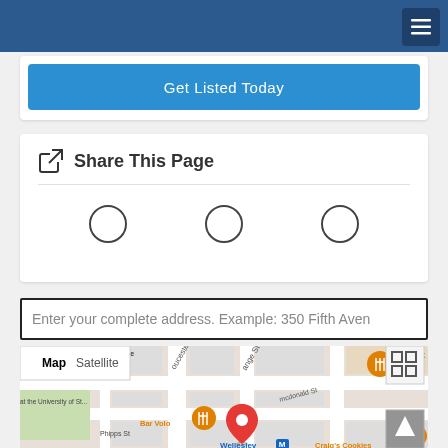Get Listed Today
Share This Page
Enter your complete address. Example: 350 Fifth Aven
[Figure (map): Google Map showing area around Wellesley subway station in Toronto. Shows Bar Volo, DanceLite X Centre, Craig's Cookies, a red location pin marker, Map/Satellite toggle, and map navigation controls.]